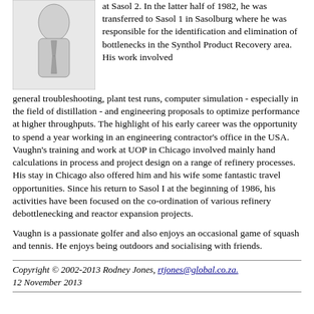[Figure (photo): Black and white photo of a person wearing a tie, upper body visible]
at Sasol 2. In the latter half of 1982, he was transferred to Sasol 1 in Sasolburg where he was responsible for the identification and elimination of bottlenecks in the Synthol Product Recovery area. His work involved general troubleshooting, plant test runs, computer simulation - especially in the field of distillation - and engineering proposals to optimize performance at higher throughputs. The highlight of his early career was the opportunity to spend a year working in an engineering contractor's office in the USA. Vaughn's training and work at UOP in Chicago involved mainly hand calculations in process and project design on a range of refinery processes. His stay in Chicago also offered him and his wife some fantastic travel opportunities. Since his return to Sasol I at the beginning of 1986, his activities have been focused on the co-ordination of various refinery debottlenecking and reactor expansion projects.
Vaughn is a passionate golfer and also enjoys an occasional game of squash and tennis. He enjoys being outdoors and socialising with friends.
Copyright © 2002-2013 Rodney Jones, rtjones@global.co.za. 12 November 2013